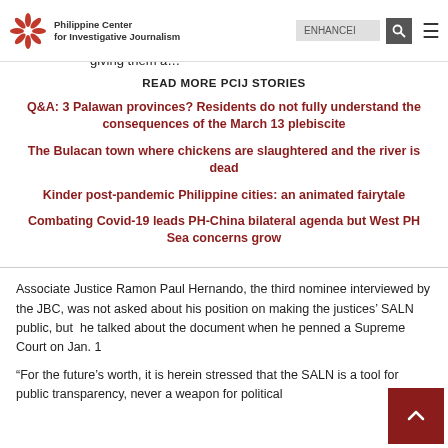Philippine Center for Investigative Journalism
details of the SALN is laudable and legitimate, then there should be no problem of giving them a…
READ MORE PCIJ STORIES
Q&A: 3 Palawan provinces? Residents do not fully understand the consequences of the March 13 plebiscite
The Bulacan town where chickens are slaughtered and the river is dead
Kinder post-pandemic Philippine cities: an animated fairytale
Combating Covid-19 leads PH-China bilateral agenda but West PH Sea concerns grow
Associate Justice Ramon Paul Hernando, the third nominee interviewed by the JBC, was not asked about his position on making the justices' SALN public, but he talked about the document when he penned a Supreme Court on Jan. 1
“For the future’s worth, it is herein stressed that the SALN is a tool for public transparency, never a weapon for political…